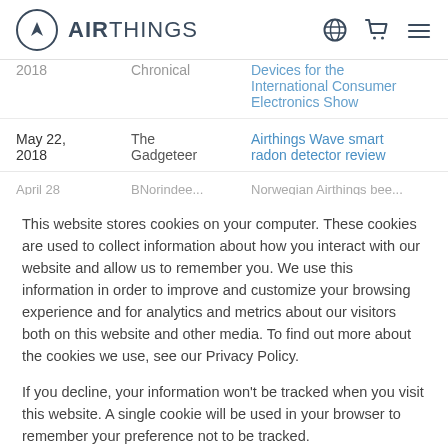AIRTHINGS
| Date | Publication | Article |
| --- | --- | --- |
| 2018 | Chronical | Devices for the International Consumer Electronics Show |
| May 22, 2018 | The Gadgeteer | Airthings Wave smart radon detector review |
| April 28... | BNorindee... | Norwegian Airthings bee... |
This website stores cookies on your computer. These cookies are used to collect information about how you interact with our website and allow us to remember you. We use this information in order to improve and customize your browsing experience and for analytics and metrics about our visitors both on this website and other media. To find out more about the cookies we use, see our Privacy Policy.
If you decline, your information won't be tracked when you visit this website. A single cookie will be used in your browser to remember your preference not to be tracked.